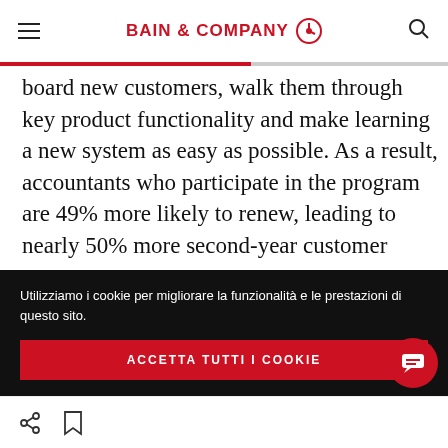BAIN & COMPANY
board new customers, walk them through key product functionality and make learning a new system as easy as possible. As a result, accountants who participate in the program are 49% more likely to renew, leading to nearly 50% more second-year customer revenue.
Utilizziamo i cookie per migliorare la funzionalità e le prestazioni di questo sito.
ACCETTA TUTTI I COOKIE